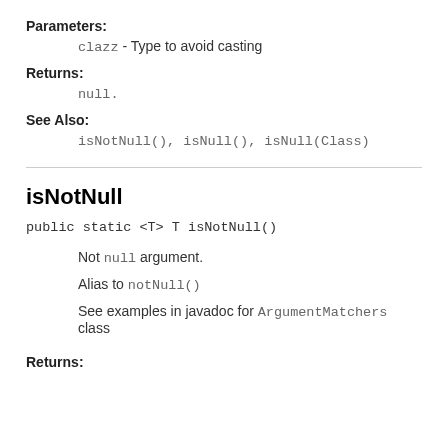Parameters:
clazz - Type to avoid casting
Returns:
null.
See Also:
isNotNull(), isNull(), isNull(Class)
isNotNull
public static <T> T isNotNull()
Not null argument.
Alias to notNull()
See examples in javadoc for ArgumentMatchers class
Returns: